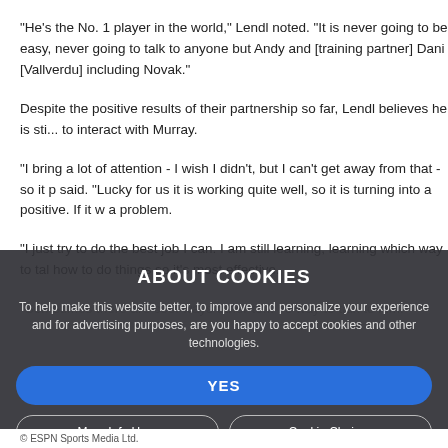"He's the No. 1 player in the world," Lendl noted. "It is never going to be easy, never going to talk to anyone but Andy and [training partner] Dani [Vallverdu] including Novak."
Despite the positive results of their partnership so far, Lendl believes he is still learning to interact with Murray.
"I bring a lot of attention - I wish I didn't, but I can't get away from that - so it p... said. "Lucky for us it is working quite well, so it is turning into a positive. If it w... a problem.
"I just try to do the best job I can. I am still learning, learning which way to tal... how to do things so it's most effective.
"Sometimes there are cool ways other to... [g...tting my point across]. I s... way to talk to him."
ABOUT COOKIES
To help make this website better, to improve and personalize your experience and for advertising purposes, are you happy to accept cookies and other technologies.
YES
More Info Here
Cookie Choices
© ESPN Sports Media Ltd.